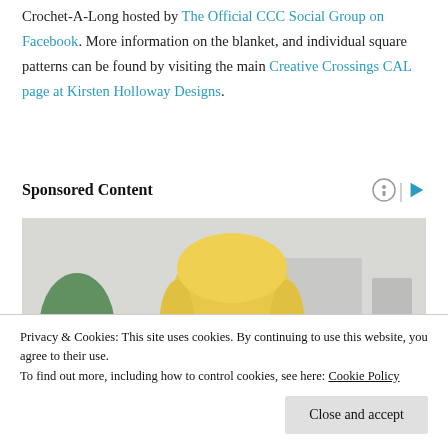Crochet-A-Long hosted by The Official CCC Social Group on Facebook. More information on the blanket, and individual square patterns can be found by visiting the main Creative Crossings CAL page at Kirsten Holloway Designs.
Sponsored Content
[Figure (photo): Photo of a blonde woman in a yellow knit sweater, looking down, with a green plant and light grey background behind her.]
Privacy & Cookies: This site uses cookies. By continuing to use this website, you agree to their use.
To find out more, including how to control cookies, see here: Cookie Policy